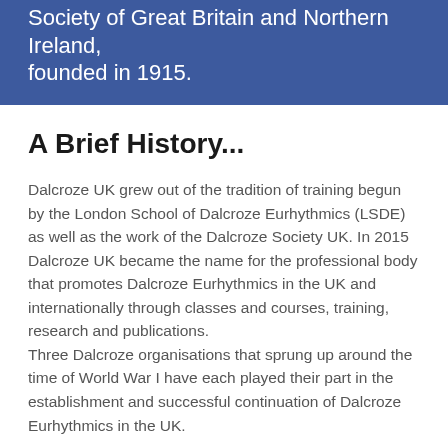Society of Great Britain and Northern Ireland, founded in 1915.
A Brief History...
Dalcroze UK grew out of the tradition of training begun by the London School of Dalcroze Eurhythmics (LSDE) as well as the work of the Dalcroze Society UK. In 2015 Dalcroze UK became the name for the professional body that promotes Dalcroze Eurhythmics in the UK and internationally through classes and courses, training, research and publications. Three Dalcroze organisations that sprung up around the time of World War I have each played their part in the establishment and successful continuation of Dalcroze Eurhythmics in the UK.